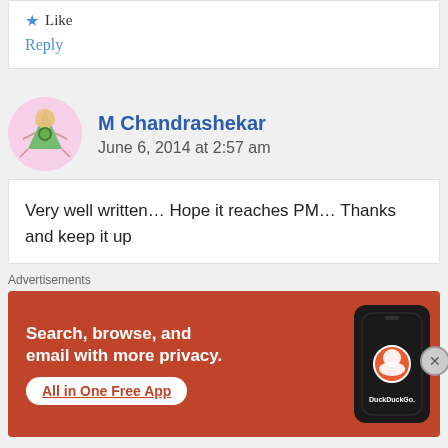Like
Reply
M Chandrashekar
June 6, 2014 at 2:57 am
Very well written… Hope it reaches PM… Thanks and keep it up
[Figure (illustration): DuckDuckGo advertisement banner with orange/red background, showing text 'Search, browse, and email with more privacy. All in One Free App' with a phone mockup showing DuckDuckGo logo]
Advertisements